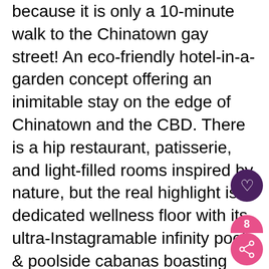because it is only a 10-minute walk to the Chinatown gay street! An eco-friendly hotel-in-a-garden concept offering an inimitable stay on the edge of Chinatown and the CBD. There is a hip restaurant, patisserie, and light-filled rooms inspired by nature, but the real highlight is a dedicated wellness floor with its ultra-Instagramable infinity pool & poolside cabanas boasting lush landscaping and epic Singapore city skyline views.
W Singapore ☆☆☆☆☆ – We continue to be obsessed with the design aesthetics and fabulously quirky vibes of the W hotel chain, and the W Singapore is no different. Leave city behind and enjoy a lively coastal setting